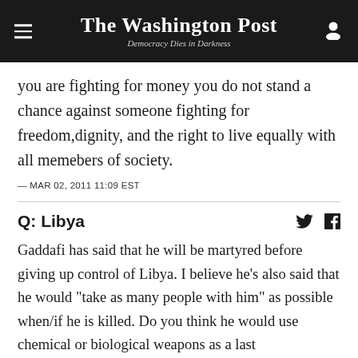The Washington Post — Democracy Dies in Darkness
you are fighting for money you do not stand a chance against someone fighting for freedom,dignity, and the right to live equally with all memebers of society.
— MAR 02, 2011 11:09 EST
Q: Libya
Gaddafi has said that he will be martyred before giving up control of Libya. I believe he's also said that he would "take as many people with him" as possible when/if he is killed. Do you think he would use chemical or biological weapons as a last